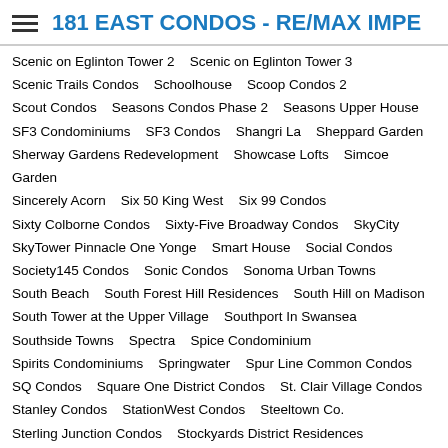181 EAST CONDOS - RE/MAX IMPE...
Scenic on Eglinton Tower 2
Scenic on Eglinton Tower 3
Scenic Trails Condos
Schoolhouse
Scoop Condos 2
Scout Condos
Seasons Condos Phase 2
Seasons Upper House
SF3 Condominiums
SF3 Condos
Shangri La
Sheppard Garden
Sherway Gardens Redevelopment
Showcase Lofts
Simcoe Garden
Sincerely Acorn
Six 50 King West
Six 99 Condos
Sixty Colborne Condos
Sixty-Five Broadway Condos
SkyCity
SkyTower Pinnacle One Yonge
Smart House
Social Condos
Society145 Condos
Sonic Condos
Sonoma Urban Towns
South Beach
South Forest Hill Residences
South Hill on Madison
South Tower at the Upper Village
Southport In Swansea
Southside Towns
Spectra
Spice Condominium
Spirits Condominiums
Springwater
Spur Line Common Condos
SQ Condos
Square One District Condos
St. Clair Village Condos
Stanley Condos
StationWest Condos
Steeltown Co.
Sterling Junction Condos
Stockyards District Residences
Stonebrook Condominiums Phase II
Strata Condos
Streetsville Village Residences
Studio
Studio II
sugar wharf condos
Summer Palace
SweetLife Condos
Symphony Condos
Sync Lofts
T1 at M2M Condos
Tableau
Tango Phase II
Tango Phase1
Tanu Condos
TAO
Teahouse Condos
Tek tower
Television City Condos
Ten York